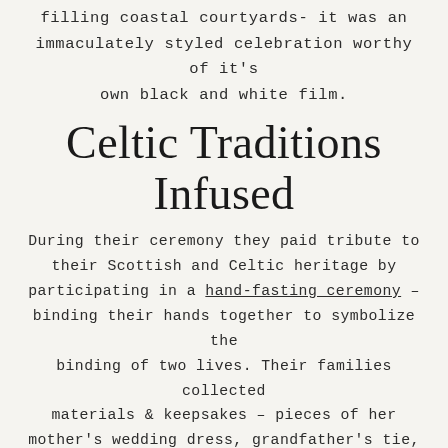filling coastal courtyards- it was an immaculately styled celebration worthy of it's own black and white film.
Celtic Traditions Infused
During their ceremony they paid tribute to their Scottish and Celtic heritage by participating in a hand-fasting ceremony – binding their hands together to symbolize the binding of two lives. Their families collected materials & keepsakes – pieces of her mother's wedding dress, grandfather's tie, a ballet shoe – and individually tied them together to create the unity chord from their